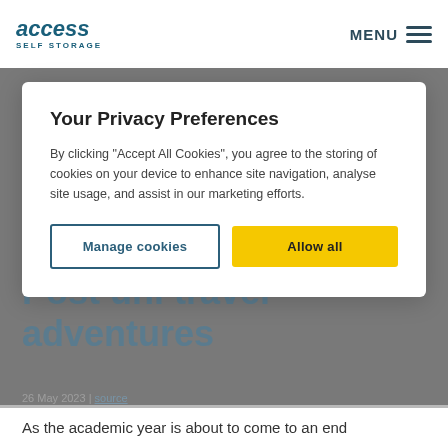access SELF STORAGE | MENU
Travelling after uni- Post uni travel adventures
Your Privacy Preferences
By clicking "Accept All Cookies", you agree to the storing of cookies on your device to enhance site navigation, analyse site usage, and assist in our marketing efforts.
Manage cookies | Allow all
As the academic year is about to come to an end